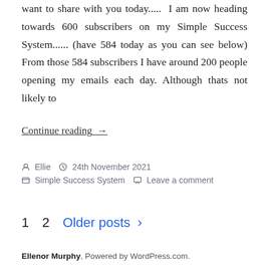want to share with you today.....  I am now heading towards 600 subscribers on my Simple Success System...... (have 584 today as you can see below) From those 584 subscribers I have around 200 people opening my emails each day. Although thats not likely to
Continue reading  →
Ellie   24th November 2021   Simple Success System   Leave a comment
1   2   Older posts  >
Ellenor Murphy, Powered by WordPress.com.